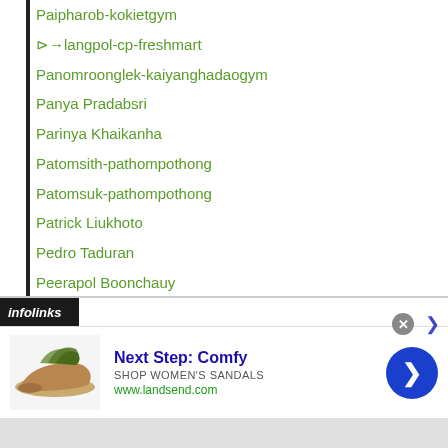Paipharob-kokietgym
⊳→langpol-cp-freshmart
Panomroonglek-kaiyanghadaogym
Panya Pradabsri
Parinya Khaikanha
Patomsith-pathompothong
Patomsuk-pathompothong
Patrick Liukhoto
Pedro Taduran
Peerapol Boonchauy
Petchbarngborn Kokietgym
Petchchorhae-kokietgym
Petch CP Freshmart
Petchdam-petchyindee-academy
Petchmanee Kokietgym
Petchorhae-kokietgym
[Figure (screenshot): Advertisement banner for Lands' End women's sandals with infolinks label, shoe image, 'Next Step: Comfy' heading, 'SHOP WOMEN'S SANDALS' subtext, www.landsend.com URL, and a blue circular arrow button]